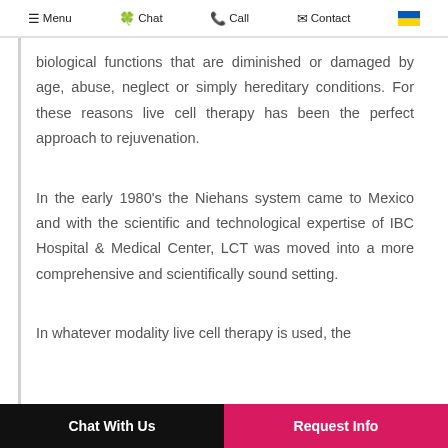≡ Menu  🍀 Chat  📞 Call  ✉ Contact  🇺🇦
biological functions that are diminished or damaged by age, abuse, neglect or simply hereditary conditions. For these reasons live cell therapy has been the perfect approach to rejuvenation.
In the early 1980's the Niehans system came to Mexico and with the scientific and technological expertise of IBC Hospital & Medical Center, LCT was moved into a more comprehensive and scientifically sound setting.
In whatever modality live cell therapy is used, the
Chat With Us   Request Info